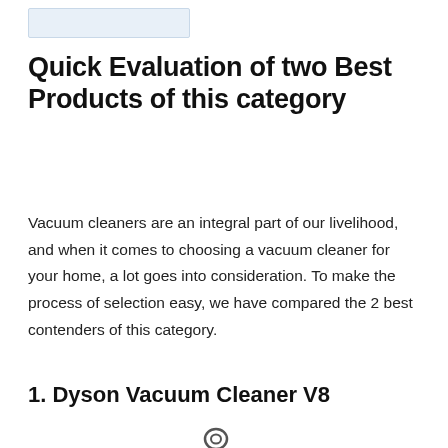[Figure (other): Small light blue rectangular placeholder image or logo bar at top left]
Quick Evaluation of two Best Products of this category
Vacuum cleaners are an integral part of our livelihood, and when it comes to choosing a vacuum cleaner for your home, a lot goes into consideration. To make the process of selection easy, we have compared the 2 best contenders of this category.
1. Dyson Vacuum Cleaner V8
[Figure (logo): Partial circular icon/logo at bottom center, cut off by page edge]